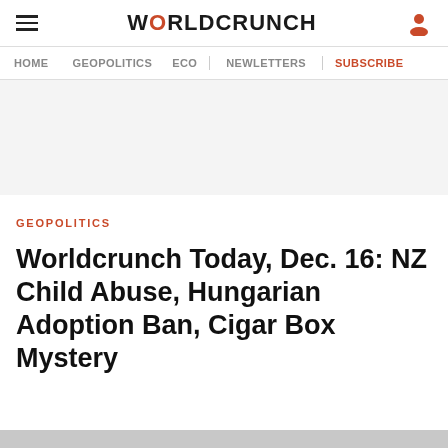WORLDCRUNCH
HOME  GEOPOLITICS  ECO  NEWLETTERS  SUBSCRIBE
GEOPOLITICS
Worldcrunch Today, Dec. 16: NZ Child Abuse, Hungarian Adoption Ban, Cigar Box Mystery